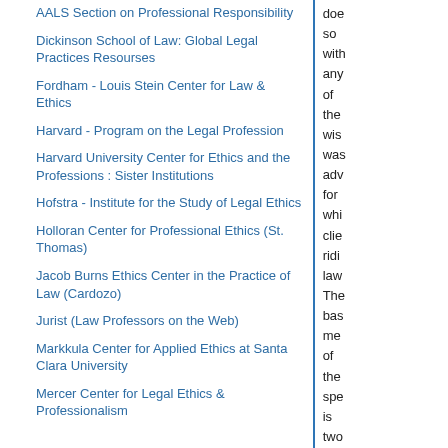AALS Section on Professional Responsibility
Dickinson School of Law: Global Legal Practices Resourses
Fordham - Louis Stein Center for Law & Ethics
Harvard - Program on the Legal Profession
Harvard University Center for Ethics and the Professions : Sister Institutions
Hofstra - Institute for the Study of Legal Ethics
Holloran Center for Professional Ethics (St. Thomas)
Jacob Burns Ethics Center in the Practice of Law (Cardozo)
Jurist (Law Professors on the Web)
Markkula Center for Applied Ethics at Santa Clara University
Mercer Center for Legal Ethics & Professionalism
doe so with any of the wis was adv for whi clie ridi law The bas me of the spe is two (1) Re